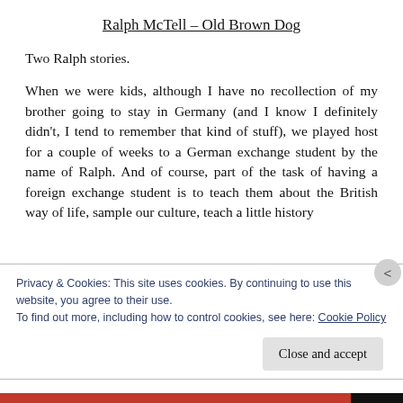Ralph McTell – Old Brown Dog
Two Ralph stories.
When we were kids, although I have no recollection of my brother going to stay in Germany (and I know I definitely didn't, I tend to remember that kind of stuff), we played host for a couple of weeks to a German exchange student by the name of Ralph. And of course, part of the task of having a foreign exchange student is to teach them about the British way of life, sample our culture, teach a little history
Privacy & Cookies: This site uses cookies. By continuing to use this website, you agree to their use.
To find out more, including how to control cookies, see here: Cookie Policy